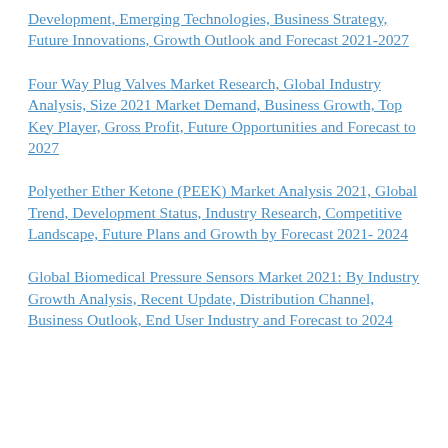Development, Emerging Technologies, Business Strategy, Future Innovations, Growth Outlook and Forecast 2021-2027
Four Way Plug Valves Market Research, Global Industry Analysis, Size 2021 Market Demand, Business Growth, Top Key Player, Gross Profit, Future Opportunities and Forecast to 2027
Polyether Ether Ketone (PEEK) Market Analysis 2021, Global Trend, Development Status, Industry Research, Competitive Landscape, Future Plans and Growth by Forecast 2021- 2024
Global Biomedical Pressure Sensors Market 2021: By Industry Growth Analysis, Recent Update, Distribution Channel, Business Outlook, End User Industry and Forecast to 2024